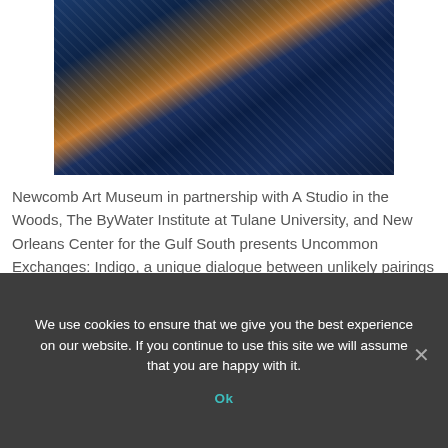[Figure (photo): Photo of blue indigo-dyed textile garments and costumes on display, featuring elaborate blue and white patterned fabric, feathered decorations, and various indigo-dyed clothing items hanging on display.]
Newcomb Art Museum in partnership with A Studio in the Woods, The ByWater Institute at Tulane University, and New Orleans Center for the Gulf South presents Uncommon Exchanges: Indigo, a unique dialogue between unlikely pairings of Tulane
We use cookies to ensure that we give you the best experience on our website. If you continue to use this site we will assume that you are happy with it.
Ok